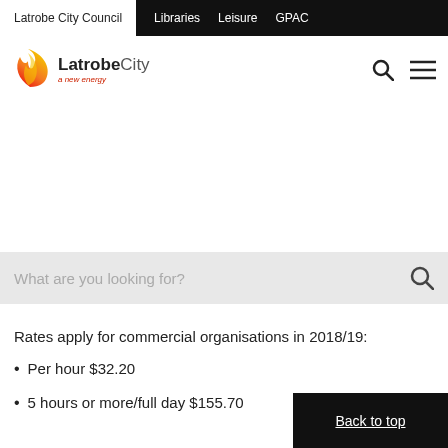Latrobe City Council | Libraries | Leisure | GPAC
[Figure (logo): Latrobe City Council logo with flame graphic and tagline 'a new energy']
What are you looking for?
Rates apply for commercial organisations in 2018/19:
Per hour $32.20
5 hours or more/full day $155.70